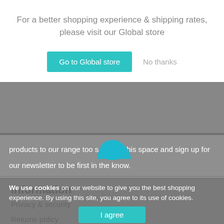For a better shopping experience & shipping rates, please visit our Global store
Go to Global store | No thanks
products to our range too s... this space and sign up for our newsletter to be first in the know.
Information
Contact us
Terms of service
Privacy & security
Returns policy
Shipping
Newsletter
We use cookies on our website to give you the best shopping experience. By using this site, you agree to its use of cookies.
Contact